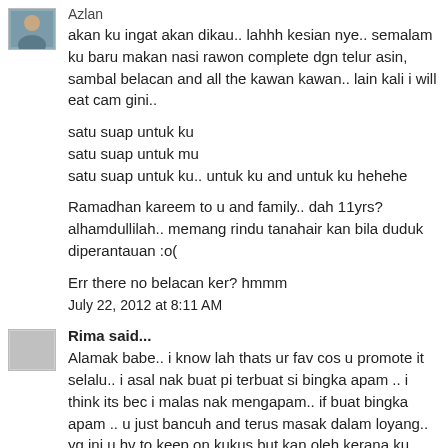Azlan
akan ku ingat akan dikau.. lahhh kesian nye.. semalam ku baru makan nasi rawon complete dgn telur asin, sambal belacan and all the kawan kawan.. lain kali i will eat cam gini..
satu suap untuk ku
satu suap untuk mu
satu suap untuk ku.. untuk ku and untuk ku hehehe
Ramadhan kareem to u and family.. dah 11yrs? alhamdullilah.. memang rindu tanahair kan bila duduk diperantauan :o(
Err there no belacan ker? hmmm
July 22, 2012 at 8:11 AM
Rima said...
Alamak babe.. i know lah thats ur fav cos u promote it selalu.. i asal nak buat pi terbuat si bingka apam .. i think its bec i malas nak mengapam.. if buat bingka apam .. u just bancuh and terus masak dalam loyang.. yg ini u hv to keep on kukus but kan oleh kerana ku baru beli kukusan